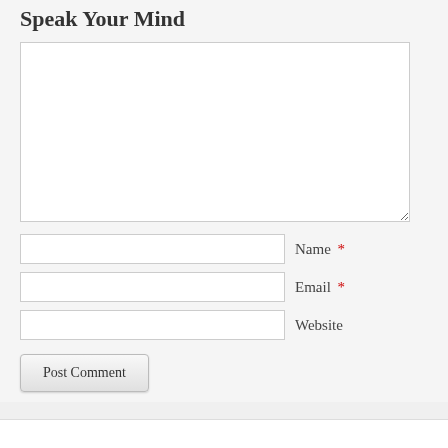Speak Your Mind
[Figure (screenshot): Comment form textarea (large empty text input area)]
Name *
Email *
Website
Post Comment